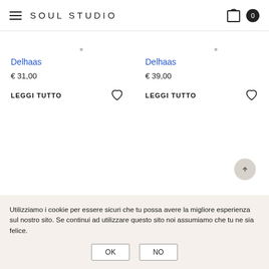SOUL STUDIO
Delhaas
€ 31,00
LEGGI TUTTO
Delhaas
€ 39,00
LEGGI TUTTO
Utilizziamo i cookie per essere sicuri che tu possa avere la migliore esperienza sul nostro sito. Se continui ad utilizzare questo sito noi assumiamo che tu ne sia felice.
OK
NO